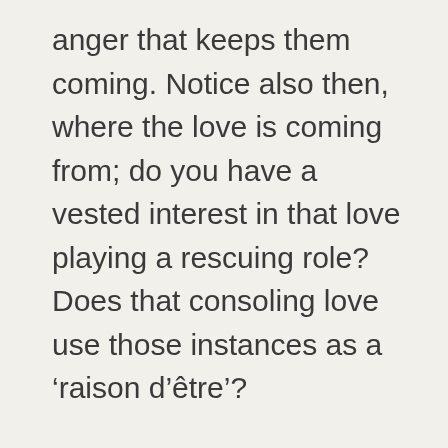anger that keeps them coming. Notice also then, where the love is coming from; do you have a vested interest in that love playing a rescuing role? Does that consoling love use those instances as a ‘raison d’être’?
The Love that will dissolve comes from deep within and feels no gratification for opening its healing arms. It attributes no blame, no